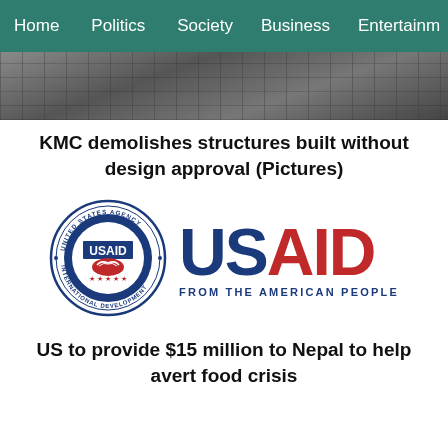Home  Politics  Society  Business  Entertainment
[Figure (photo): Top portion of a photograph showing a demolition scene, partially cropped]
KMC demolishes structures built without design approval (Pictures)
[Figure (logo): USAID logo: United States Agency for International Development seal on the left and USAID wordmark with tagline FROM THE AMERICAN PEOPLE on the right]
US to provide $15 million to Nepal to help avert food crisis